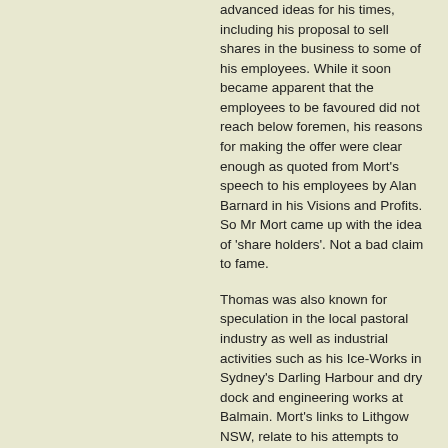advanced ideas for his times, including his proposal to sell shares in the business to some of his employees. While it soon became apparent that the employees to be favoured did not reach below foremen, his reasons for making the offer were clear enough as quoted from Mort's speech to his employees by Alan Barnard in his Visions and Profits. So Mr Mort came up with the idea of 'share holders'. Not a bad claim to fame.
Thomas was also known for speculation in the local pastoral industry as well as industrial activities such as his Ice-Works in Sydney's Darling Harbour and dry dock and engineering works at Balmain. Mort's links to Lithgow NSW, relate to his attempts to develop a refrigeration works for the export of meat. As a part of his refrigeration development, Mort developed a large abattoir where sheep and cattle were driven in from the west, slaughtered and refrigerated for later transport.
T S Mort had previously carried out his own experiments in the production of ice, and family legend has it that, upon